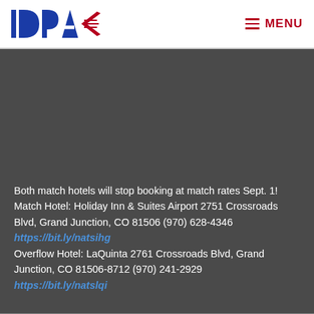[Figure (logo): IDPA logo with stylized text in blue and red/dark colors with wing/chevron graphic]
≡ MENU
Both match hotels will stop booking at match rates Sept. 1! Match Hotel: Holiday Inn & Suites Airport 2751 Crossroads Blvd, Grand Junction, CO 81506 (970) 628-4346 https://bit.ly/natsihg Overflow Hotel: LaQuinta 2761 Crossroads Blvd, Grand Junction, CO 81506-8712 (970) 241-2929 https://bit.ly/natslqi